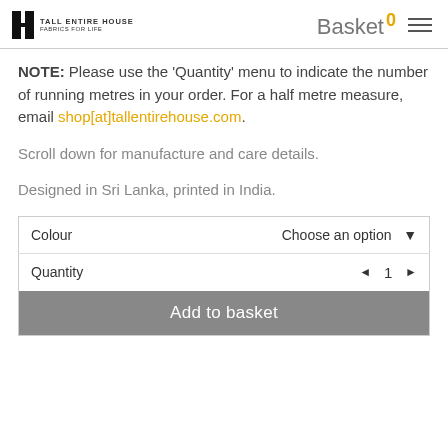Tall Entire House — Fabrics for Life | Basket 0
NOTE: Please use the 'Quantity' menu to indicate the number of running metres in your order. For a half metre measure, email shop[at]tallentirehouse.com.
Scroll down for manufacture and care details.
Designed in Sri Lanka, printed in India.
|  |  |
| --- | --- |
| Colour | Choose an option ▼ |
| Quantity | ◄  1  ► |
| Add to basket |  |